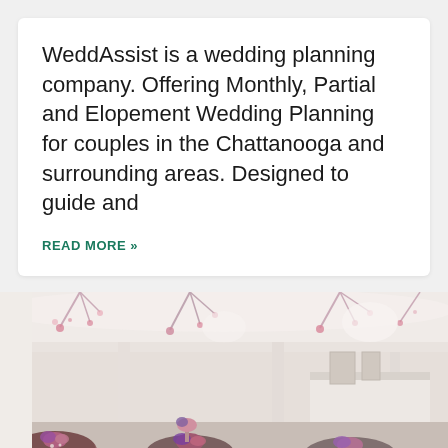WeddAssist is a wedding planning company. Offering Monthly, Partial and Elopement Wedding Planning for couples in the Chattanooga and surrounding areas. Designed to guide and
READ MORE »
[Figure (photo): Interior of an elegant wedding venue with white draped ceiling, floral hanging decorations in pink, round tables set with purple/dark floral centerpieces, white chiavari chairs, and a white bar area in the background.]